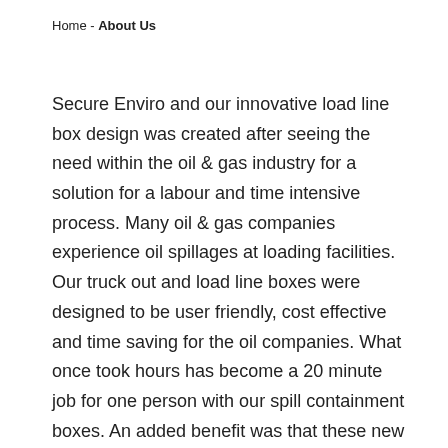Home - About Us
Secure Enviro and our innovative load line box design was created after seeing the need within the oil & gas industry for a solution for a labour and time intensive process. Many oil & gas companies experience oil spillages at loading facilities. Our truck out and load line boxes were designed to be user friendly, cost effective and time saving for the oil companies. What once took hours has become a 20 minute job for one person with our spill containment boxes. An added benefit was that these new oil catching solutions also lessened the contamination of the environment. Our company has been designing pig trap boxes and blow down boxes for pneumatic applications for over 25